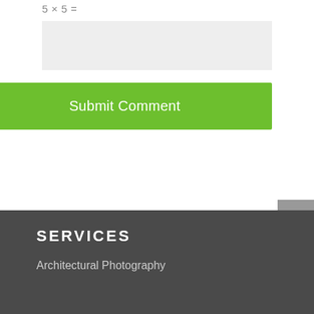Submit Comment
SERVICES
Architectural Photography